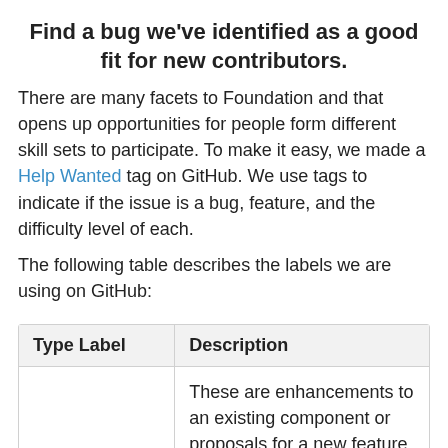Find a bug we've identified as a good fit for new contributors.
There are many facets to Foundation and that opens up opportunities for people form different skill sets to participate. To make it easy, we made a Help Wanted tag on GitHub. We use tags to indicate if the issue is a bug, feature, and the difficulty level of each.
The following table describes the labels we are using on GitHub:
| Type Label | Description |
| --- | --- |
| feature | These are enhancements to an existing component or proposals for a new feature. New features are exciting and fun to develop and can improve Foundation's usability or performance |